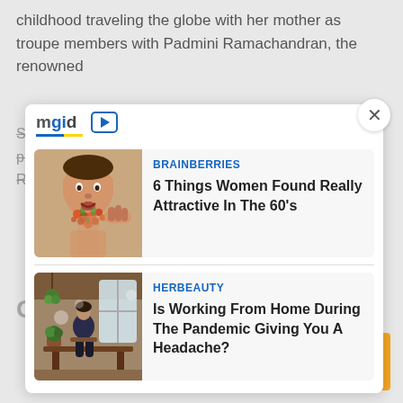childhood traveling the globe with her mother as troupe members with Padmini Ramachandran, the renowned
Some dancer and Bollywood actress, starring in plays depicting Hindu epics such as Dasavatar, Ramayana,
[Figure (screenshot): MGID sponsored content widget with two ad cards. First card: BRAINBERRIES - 6 Things Women Found Really Attractive In The 60's (image of man with flower beard). Second card: HERBEAUTY - Is Working From Home During The Pandemic Giving You A Headache? (image of home office/cafe scene).]
Geeta Iyer: Salary and her
[Figure (other): Yellow scroll-to-top button with upward chevron arrow]